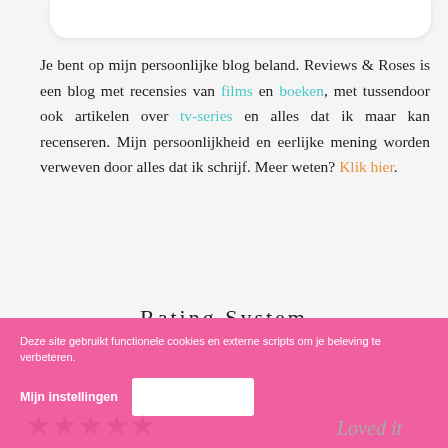Je bent op mijn persoonlijke blog beland. Reviews & Roses is een blog met recensies van films en boeken, met tussendoor ook artikelen over tv-series en alles dat ik maar kan recenseren. Mijn persoonlijkheid en eerlijke mening worden verweven door alles dat ik schrijf. Meer weten? Klik hier.
Rating System
[Figure (infographic): Rating system rows: one pink star with arrow pointing right to 'Hated it'; two pink stars with arrow pointing right to 'Didn't like it']
Deze site gebruikt functionele cookies en externe scripts om je beleving te verbeteren.
Mijn instellingen